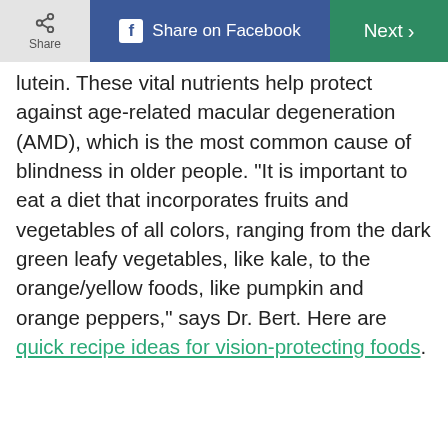[Figure (screenshot): Top navigation bar with Share button (left, grey), Share on Facebook button (center, blue), and Next button (right, green)]
lutein. These vital nutrients help protect against age-related macular degeneration (AMD), which is the most common cause of blindness in older people. “It is important to eat a diet that incorporates fruits and vegetables of all colors, ranging from the dark green leafy vegetables, like kale, to the orange/yellow foods, like pumpkin and orange peppers,” says Dr. Bert. Here are quick recipe ideas for vision-protecting foods.
[Figure (screenshot): Advertisement section with label ADVERTISEMENT, showing a photo of a person and a sign-up box reading SIGN UP FOR OUR NEWSLETTER!]